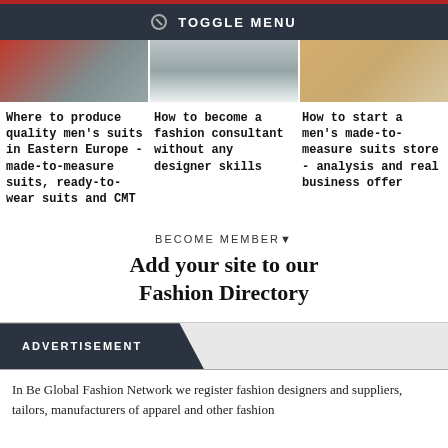TOGGLE MENU
[Figure (photo): Three fashion-related article thumbnail images side by side]
Where to produce quality men's suits in Eastern Europe - made-to-measure suits, ready-to-wear suits and CMT
How to become a fashion consultant without any designer skills
How to start a men's made-to-measure suits store - analysis and real business offer
BECOME MEMBER▼
Add your site to our Fashion Directory
ADVERTISEMENT
In Be Global Fashion Network we register fashion designers and suppliers, tailors, manufacturers of apparel and other fashion